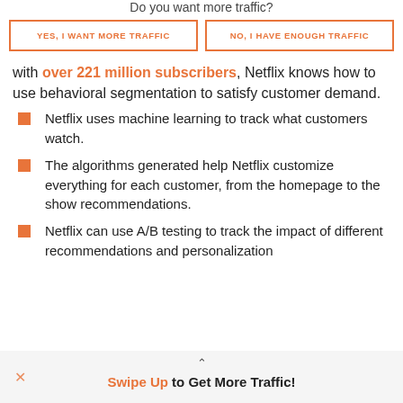Do you want more traffic?
YES, I WANT MORE TRAFFIC
NO, I HAVE ENOUGH TRAFFIC
with over 221 million subscribers, Netflix knows how to use behavioral segmentation to satisfy customer demand.
Netflix uses machine learning to track what customers watch.
The algorithms generated help Netflix customize everything for each customer, from the homepage to the show recommendations.
Netflix can use A/B testing to track the impact of different recommendations and personalization
Swipe Up to Get More Traffic!